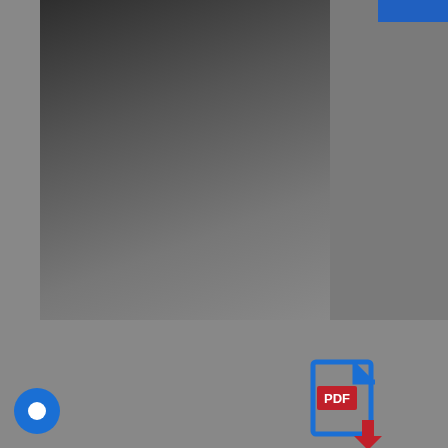[Figure (screenshot): Blurred/dark webpage background image with a blue bar at top right]
[Figure (illustration): PDF download icon: blue document outline with red PDF label and red downward arrow]
We use cookies on our website to give you the most relevant experience by remembering your preferences and repeat visits. By clicking “Accept All”, you consent to the use of ALL the cookies. However, you may visit "Cookie Settings" to provide a controlled consent.
Cookie Settings
Accept All